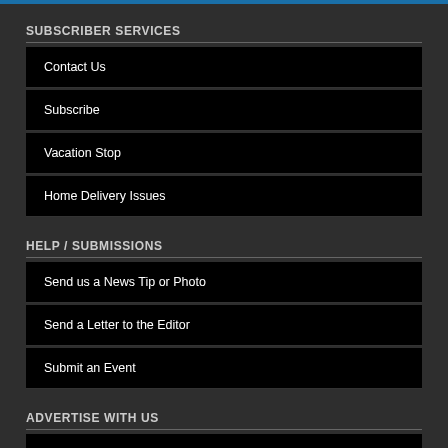SUBSCRIBER SERVICES
Contact Us
Subscribe
Vacation Stop
Home Delivery Issues
HELP / SUBMISSIONS
Send us a News Tip or Photo
Send a Letter to the Editor
Submit an Event
ADVERTISE WITH US
Advertising